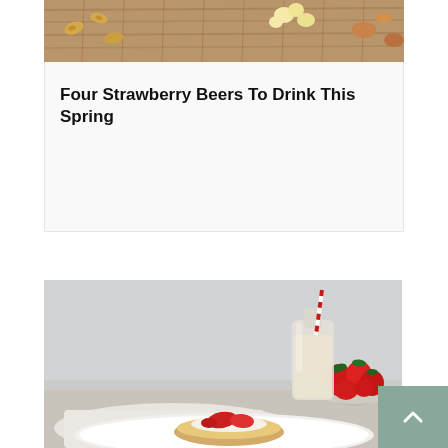[Figure (photo): Top portion of a food/snack photo showing nuts, popcorn and dried fruits on a wicker/wooden surface, cropped at top of card.]
Four Strawberry Beers To Drink This Spring
[Figure (photo): Food photo showing strawberry shortcake on a white plate with fresh strawberries in a glass bowl and a glass milk bottle with a red and white striped straw in the background, on a white cloth and wooden surface.]